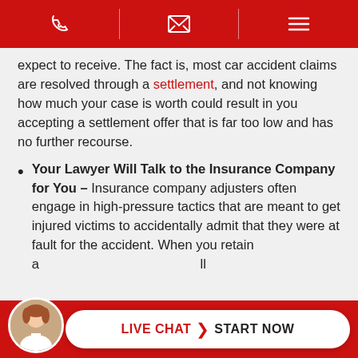Navigation bar with phone, email, and menu icons
expect to receive. The fact is, most car accident claims are resolved through a settlement, and not knowing how much your case is worth could result in you accepting a settlement offer that is far too low and has no further recourse.
Your Lawyer Will Talk to the Insurance Company for You – Insurance company adjusters often engage in high-pressure tactics that are meant to get injured victims to accidentally admit that they were at fault for the accident. When you retain a [lawyer they will handle all]
LIVE CHAT > START NOW